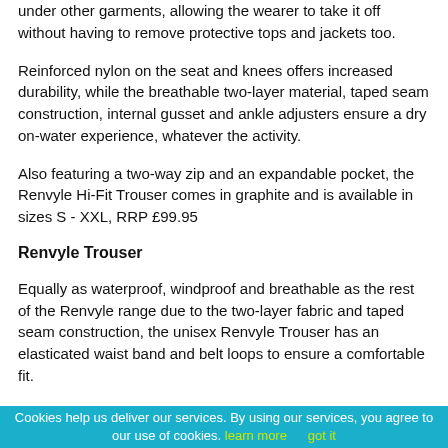under other garments, allowing the wearer to take it off without having to remove protective tops and jackets too.
Reinforced nylon on the seat and knees offers increased durability, while the breathable two-layer material, taped seam construction, internal gusset and ankle adjusters ensure a dry on-water experience, whatever the activity.
Also featuring a two-way zip and an expandable pocket, the Renvyle Hi-Fit Trouser comes in graphite and is available in sizes S - XXL, RRP £99.95
Renvyle Trouser
Equally as waterproof, windproof and breathable as the rest of the Renvyle range due to the two-layer fabric and taped seam construction, the unisex Renvyle Trouser has an elasticated waist band and belt loops to ensure a comfortable fit.
Offering unrestricted movement, the trouser features a zip closure with locking puller and the seat and knees are
Cookies help us deliver our services. By using our services, you agree to our use of cookies. learn more   got it